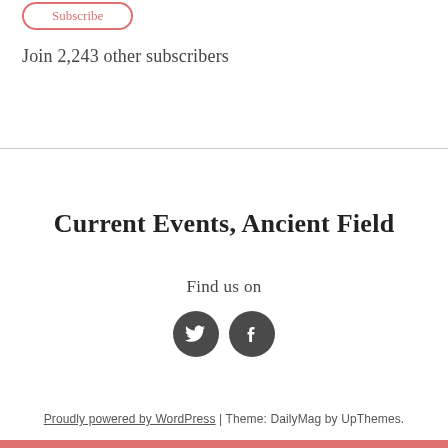[Figure (other): Subscribe button with rounded border in red/pink color]
Join 2,243 other subscribers
Current Events, Ancient Field
Find us on
[Figure (other): Twitter and Facebook social media icons as dark circular buttons]
Proudly powered by WordPress | Theme: DailyMag by UpThemes.